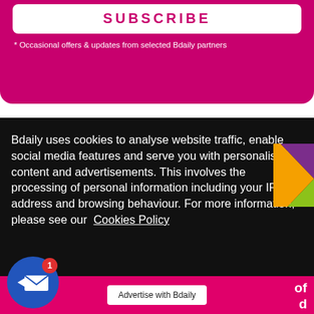[Figure (screenshot): Subscribe button (pink/magenta background, white button with SUBSCRIBE text in pink)]
* Occasional offers & updates from selected Bdaily partners
Bdaily uses cookies to analyse website traffic, enable social media features and serve you with personalised content and advertisements. This involves the processing of personal information including your IP address and browsing behaviour. For more information, please see our Cookies Policy
[Figure (logo): Coloured triangle logo (purple, green, yellow) on right side]
[Figure (screenshot): Pink bar at bottom with Advertise with Bdaily button]
[Figure (screenshot): Blue circular mail button with envelope icon and red badge showing 1]